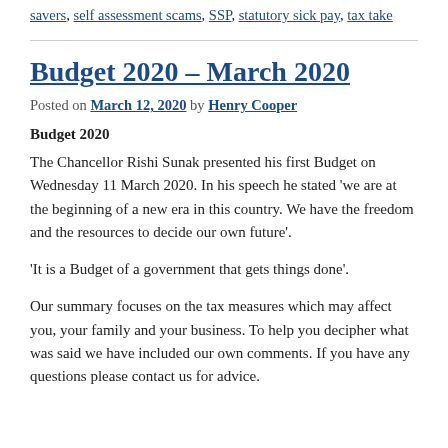savers, self assessment scams, SSP, statutory sick pay, tax take
Budget 2020 – March 2020
Posted on March 12, 2020 by Henry Cooper
Budget 2020
The Chancellor Rishi Sunak presented his first Budget on Wednesday 11 March 2020. In his speech he stated 'we are at the beginning of a new era in this country. We have the freedom and the resources to decide our own future'.
'It is a Budget of a government that gets things done'.
Our summary focuses on the tax measures which may affect you, your family and your business. To help you decipher what was said we have included our own comments. If you have any questions please contact us for advice.